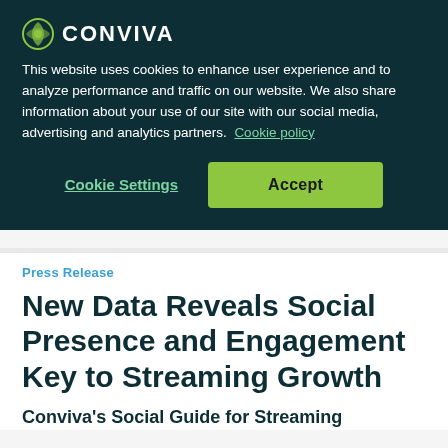[Figure (logo): Conviva logo with circular leaf icon and CONVIVA text in white]
This website uses cookies to enhance user experience and to analyze performance and traffic on our website. We also share information about your use of our site with our social media, advertising and analytics partners.  Cookie policy
Cookie Settings
Accept
Press Release
New Data Reveals Social Presence and Engagement Key to Streaming Growth
Conviva's Social Guide for Streaming